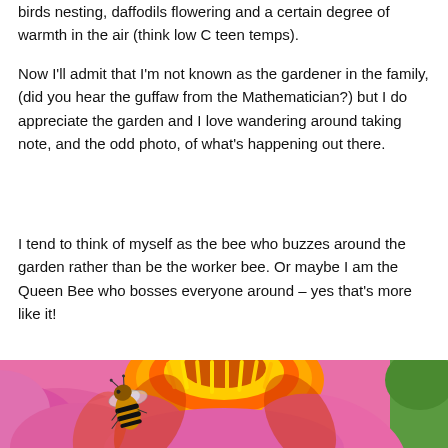birds nesting, daffodils flowering and a certain degree of warmth in the air (think low C teen temps).
Now I'll admit that I'm not known as the gardener in the family, (did you hear the guffaw from the Mathematician?) but I do appreciate the garden and I love wandering around taking note, and the odd photo, of what's happening out there.
I tend to think of myself as the bee who buzzes around the garden rather than be the worker bee. Or maybe I am the Queen Bee who bosses everyone around – yes that's more like it!
[Figure (photo): Close-up photo of a honeybee on a pink flower with orange and yellow centre petals (echinacea/coneflower).]